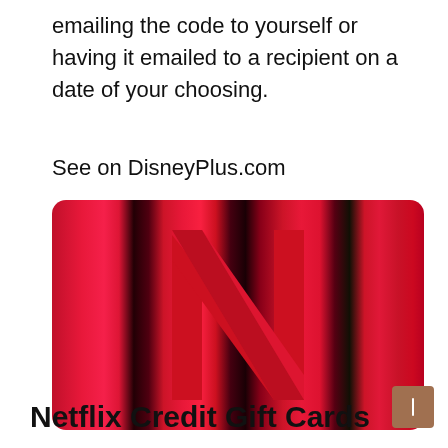emailing the code to yourself or having it emailed to a recipient on a date of your choosing.
See on DisneyPlus.com
[Figure (photo): Netflix gift card with red and black blurred vertical stripe background and large red Netflix 'N' logo in the center, with rounded corners.]
Netflix Credit Gift Cards